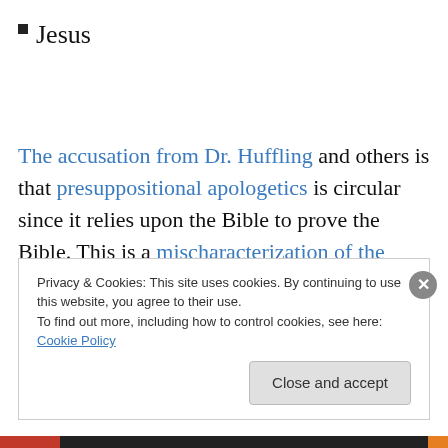Jesus
The accusation from Dr. Huffling and others is that presuppositional apologetics is circular since it relies upon the Bible to prove the Bible. This is a mischaracterization of the claims of presuppositional apologists. The Bible is revelation from the One, who knows everything and is eternally faithful AND since it is only part of God's
Privacy & Cookies: This site uses cookies. By continuing to use this website, you agree to their use.
To find out more, including how to control cookies, see here: Cookie Policy
Close and accept